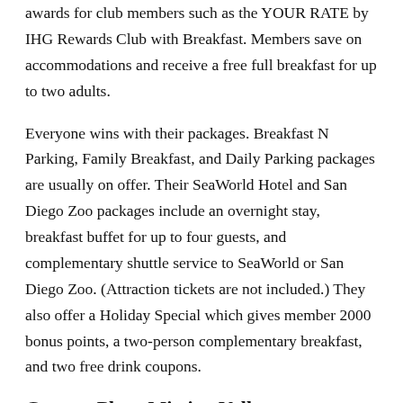awards for club members such as the YOUR RATE by IHG Rewards Club with Breakfast. Members save on accommodations and receive a free full breakfast for up to two adults.
Everyone wins with their packages. Breakfast N Parking, Family Breakfast, and Daily Parking packages are usually on offer. Their SeaWorld Hotel and San Diego Zoo packages include an overnight stay, breakfast buffet for up to four guests, and complementary shuttle service to SeaWorld or San Diego Zoo. (Attraction tickets are not included.) They also offer a Holiday Special which gives member 2000 bonus points, a two-person complementary breakfast, and two free drink coupons.
Crowne Plaza Mission Valley TripAdvisor Reviews.